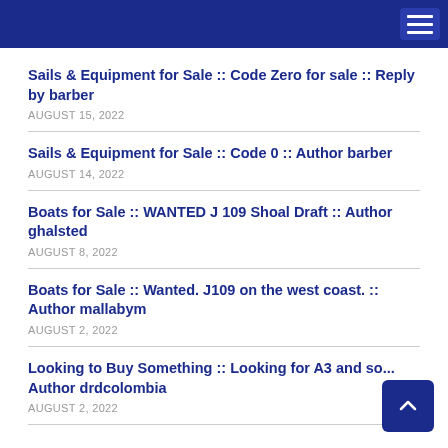Sails & Equipment for Sale :: Code Zero for sale :: Reply by barber
AUGUST 15, 2022
Sails & Equipment for Sale :: Code 0 :: Author barber
AUGUST 14, 2022
Boats for Sale :: WANTED J 109 Shoal Draft :: Author ghalsted
AUGUST 8, 2022
Boats for Sale :: Wanted. J109 on the west coast. :: Author mallabym
AUGUST 2, 2022
Looking to Buy Something :: Looking for A3 and so... Author drdcolombia
AUGUST 2, 2022